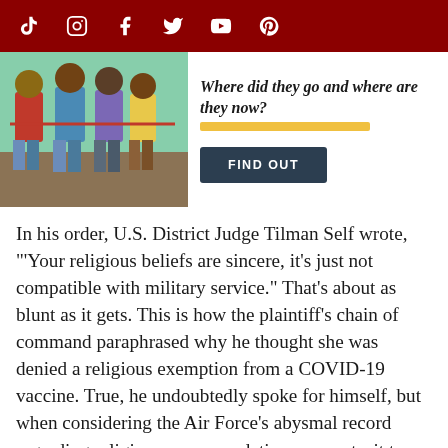Social media icon bar (TikTok, Instagram, Facebook, Twitter, YouTube, Pinterest)
[Figure (infographic): Advertisement banner with photo of children on the left and text 'Where did they go and where are they now?' with a 'FIND OUT' button on the right]
In his order, U.S. District Judge Tilman Self wrote, "'Your religious beliefs are sincere, it's just not compatible with military service." That's about as blunt as it gets. This is how the plaintiff's chain of command paraphrased why he thought she was denied a religious exemption from a COVID-19 vaccine. True, he undoubtedly spoke for himself, but when considering the Air Force's abysmal record regarding religious accommodations requests, it turns out he was dead on target.